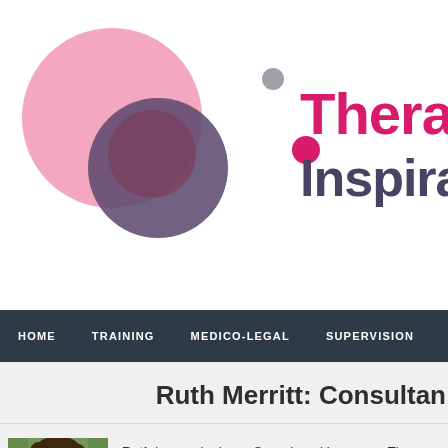[Figure (logo): Therapy Inspiration logo with overlapping pink, purple, and magenta circles and the brand name in pink and dark purple text]
HOME    TRAINING    MEDICO-LEGAL    SUPERVISION    TH
Ruth Merritt: Consultan
Ruth has worked as a Speech and Language Thera... since 1981.